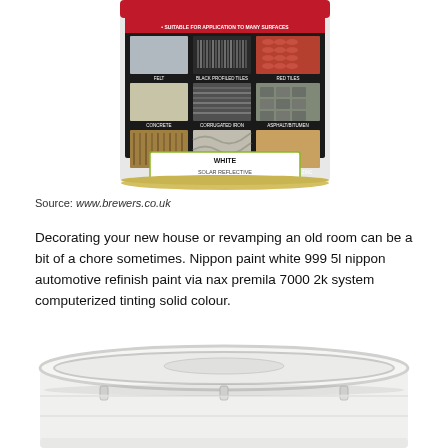[Figure (photo): Top portion of a red and white paint tin showing the label with surface application images (felt, black profiled tiles, red tiles, concrete, asbestos, copper/lead/zinc, timber) and 'WHITE SOLAR REFLECTIVE' text in a green-bordered box]
Source: www.brewers.co.uk
Decorating your new house or revamping an old room can be a bit of a chore sometimes. Nippon paint white 999 5l nippon automotive refinish paint via nax premila 7000 2k system computerized tinting solid colour.
[Figure (photo): Top-down view of a white plastic paint bucket lid, circular with clip tabs around the edge]